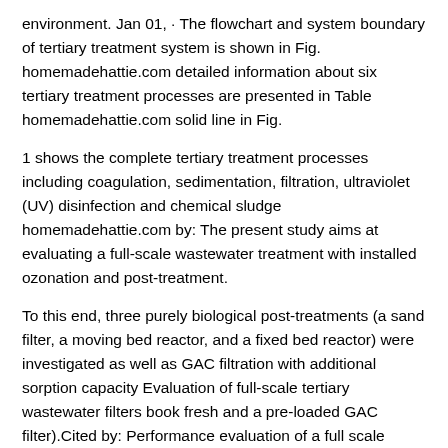environment. Jan 01,  · The flowchart and system boundary of tertiary treatment system is shown in Fig. homemadehattie.com detailed information about six tertiary treatment processes are presented in Table homemadehattie.com solid line in Fig.
1 shows the complete tertiary treatment processes including coagulation, sedimentation, filtration, ultraviolet (UV) disinfection and chemical sludge homemadehattie.com by: The present study aims at evaluating a full-scale wastewater treatment with installed ozonation and post-treatment.
To this end, three purely biological post-treatments (a sand filter, a moving bed reactor, and a fixed bed reactor) were investigated as well as GAC filtration with additional sorption capacity Evaluation of full-scale tertiary wastewater filters book fresh and a pre-loaded GAC filter).Cited by: Performance evaluation of a full scale constructed wetland providing secondary and tertiary treatment of municipal wastewater - an Australian case study.
Sewage treatment is the process of removing contaminants from